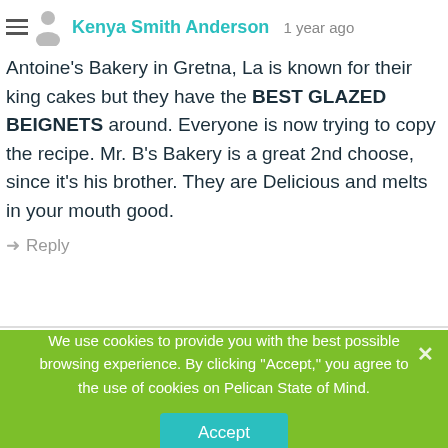Kenya Smith Anderson · 1 year ago
Antoine's Bakery in Gretna, La is known for their king cakes but they have the BEST GLAZED BEIGNETS around. Everyone is now trying to copy the recipe. Mr. B's Bakery is a great 2nd choose, since it's his brother. They are Delicious and melts in your mouth good.
Reply
We use cookies to provide you with the best possible browsing experience. By clicking "Accept," you agree to the use of cookies on Pelican State of Mind.
Accept